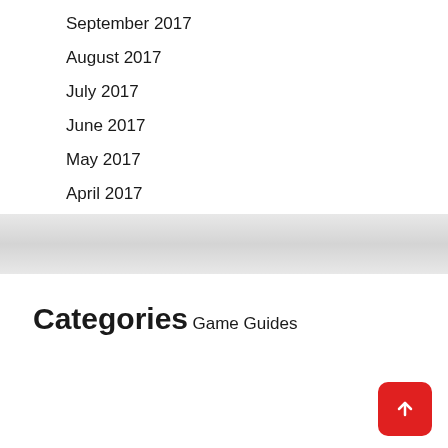September 2017
August 2017
July 2017
June 2017
May 2017
April 2017
Categories
Game Guides